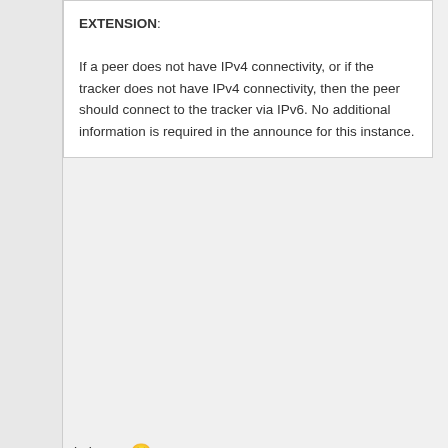EXTENSION: If a peer does not have IPv4 connectivity, or if the tracker does not have IPv4 connectivity, then the peer should connect to the tracker via IPv6. No additional information is required in the announce for this instance.
Obvious... 😀
Quote: If both peer and tracker have IPv4 connectivity, then the peer should announce to the tracker VIA IPv4. This is because, just as for usual IPv4 connections, the peer may be behind a network address translator and the tracker needs to be able to test the peer's connectivity.